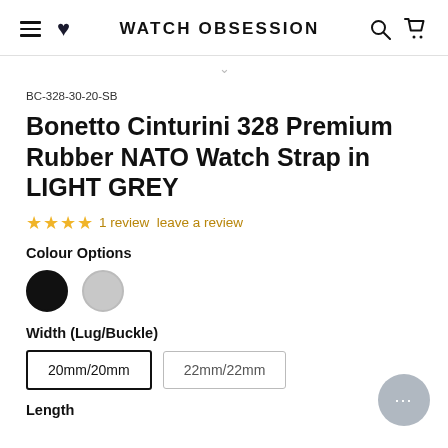WATCH OBSESSION
BC-328-30-20-SB
Bonetto Cinturini 328 Premium Rubber NATO Watch Strap in LIGHT GREY
1 review leave a review
Colour Options
Width (Lug/Buckle)
20mm/20mm
22mm/22mm
Length